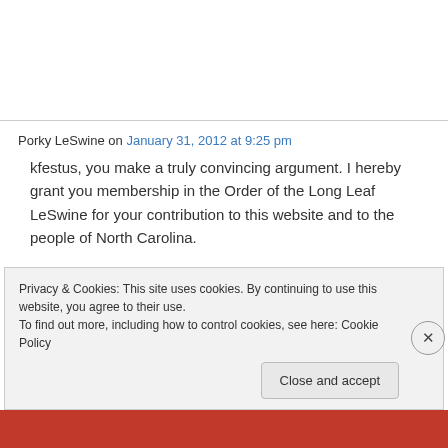Porky LeSwine on January 31, 2012 at 9:25 pm
kfestus, you make a truly convincing argument. I hereby grant you membership in the Order of the Long Leaf LeSwine for your contribution to this website and to the people of North Carolina.
Privacy & Cookies: This site uses cookies. By continuing to use this website, you agree to their use.
To find out more, including how to control cookies, see here: Cookie Policy
Close and accept